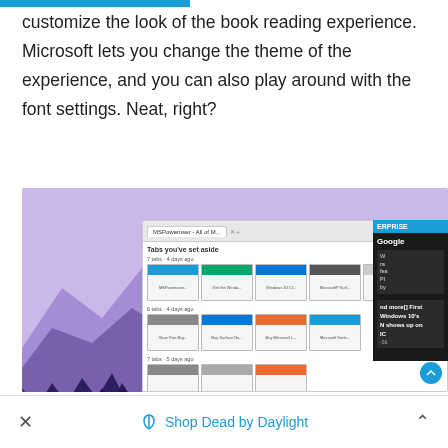customize the look of the book reading experience. Microsoft lets you change the theme of the experience, and you can also play around with the font settings. Neat, right?
[Figure (screenshot): Screenshot showing a browser with a 'Tabs you've set aside' interface, overlaid on a purple mountain/forest wallpaper background. The browser shows multiple tab groups with thumbnails of various Microsoft-related webpages.]
× 🏷 Shop Dead by Daylight ^